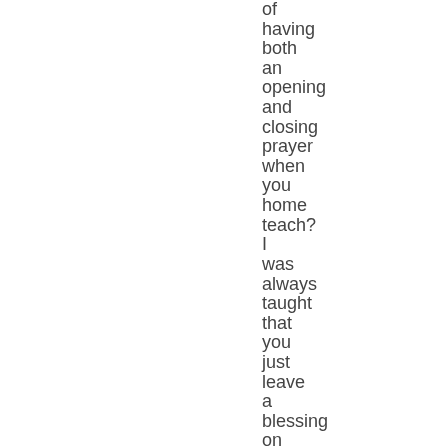of having both an opening and closing prayer when you home teach? I was always taught that you just leave a blessing on the home. Otherwise, the